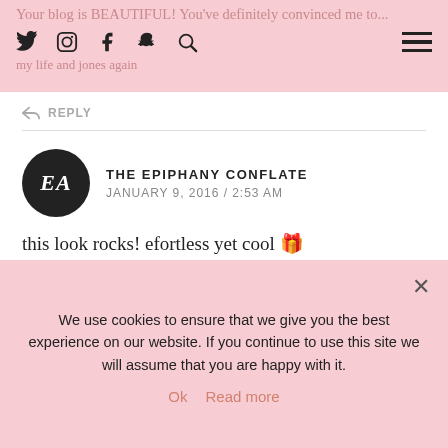Your blog is BEAUTIFUL! You've definitely convinced me to... | [social icons] | my life and jones again
↩ REPLY
THE EPIPHANY CONFLATE
JANUARY 9, 2016 / 2:53 AM
this look rocks! efortless yet cool 🎉

xo The Epiphany Conflate
http://theepiphanyconflate.com/
↩ REPLY
We use cookies to ensure that we give you the best experience on our website. If you continue to use this site we will assume that you are happy with it.
Ok   Read more